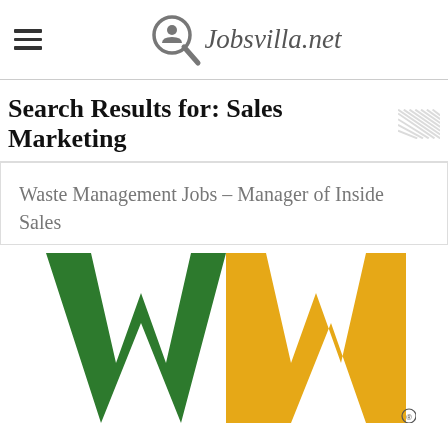Jobsvilla.net
Search Results for: Sales Marketing
Waste Management Jobs – Manager of Inside Sales
[Figure (logo): Waste Management WM logo in green and yellow/gold colors]